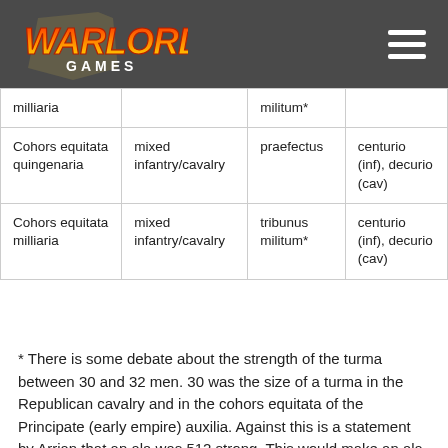Warlord Games
| milliaria |  | militum* |  |
| Cohors equitata quingenaria | mixed infantry/cavalry | praefectus | centurio (inf), decurio (cav) |
| Cohors equitata milliaria | mixed infantry/cavalry | tribunus militum* | centurio (inf), decurio (cav) |
* There is some debate about the strength of the turma between 30 and 32 men. 30 was the size of a turma in the Republican cavalry and in the cohors equitata of the Principate (early empire) auxilia. Against this is a statement by Arrian that an ala was 512 strong. This would make an ala turma 32 men strong. Personally, I suspect it simply comes down to whether one counts the commander and